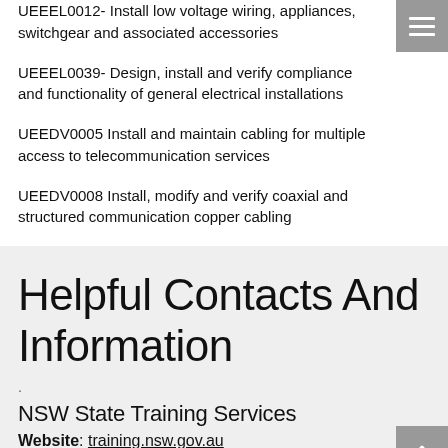UEEEL0012- Install low voltage wiring, appliances, switchgear and associated accessories
UEEEL0039- Design, install and verify compliance and functionality of general electrical installations
UEEDV0005 Install and maintain cabling for multiple access to telecommunication services
UEEDV0008 Install, modify and verify coaxial and structured communication copper cabling
Helpful Contacts And Information
.
NSW State Training Services
Website: training.nsw.gov.au